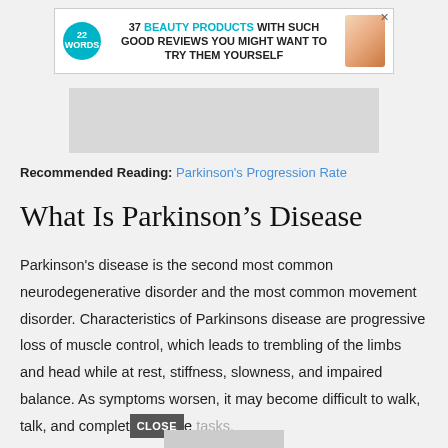[Figure (screenshot): Advertisement banner for '22 Words' website showing '37 Beauty Products With Such Good Reviews You Might Want To Try Them Yourself' with teal circular logo and product image]
[Figure (photo): Gray placeholder image area]
Recommended Reading: Parkinson's Progression Rate
What Is Parkinson's Disease
Parkinson's disease is the second most common neurodegenerative disorder and the most common movement disorder. Characteristics of Parkinsons disease are progressive loss of muscle control, which leads to trembling of the limbs and head while at rest, stiffness, slowness, and impaired balance. As symptoms worsen, it may become difficult to walk, talk, and complete simple tasks.